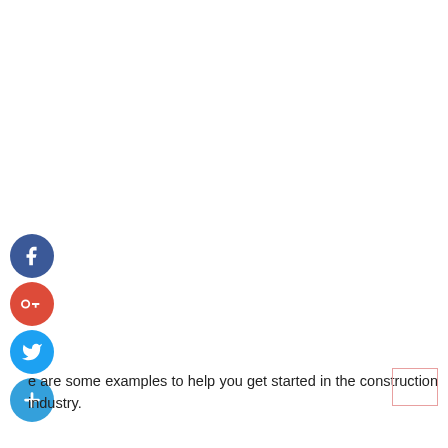[Figure (infographic): Four social media icon circles stacked vertically on the left side: Facebook (dark blue), Google+ (red), Twitter (light blue), and a plus/add button (light blue).]
e are some examples to help you get started in the construction industry.